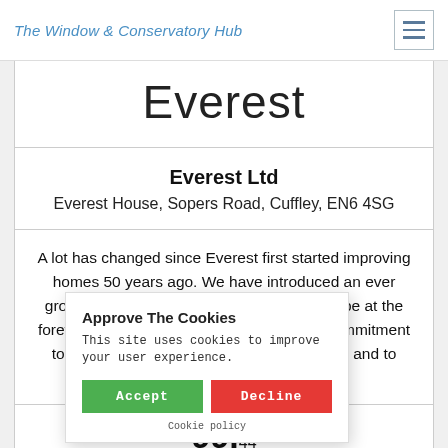The Window & Conservatory Hub
[Figure (logo): Everest company logo in large light font]
Everest Ltd
Everest House, Sopers Road, Cuffley, EN6 4SG
A lot has changed since Everest first started improving homes 50 years ago. We have introduced an ever growing range of products, and continue to be at the forefront of product development. It is our commitment to producing the best products of their kind, and to stand out in the industry. O...
Approve The Cookies
This site uses cookies to improve your user experience.
Accept  Decline
Cookie policy
99.44
National